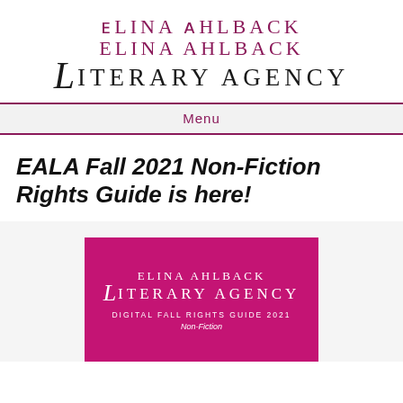ELINA AHLBACK LITERARY AGENCY
Menu
EALA Fall 2021 Non-Fiction Rights Guide is here!
[Figure (illustration): Magenta/pink book cover for Elina Ahlback Literary Agency Digital Fall Rights Guide 2021, Non-Fiction]